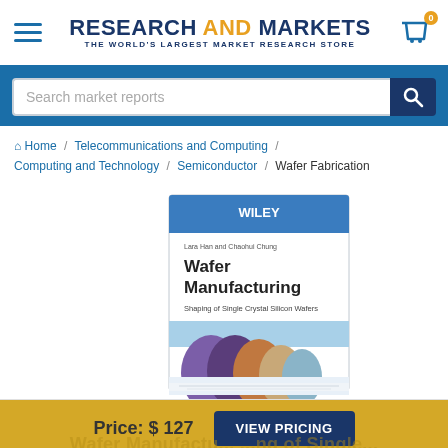RESEARCH AND MARKETS — THE WORLD'S LARGEST MARKET RESEARCH STORE
Search market reports
Home / Telecommunications and Computing / Computing and Technology / Semiconductor / Wafer Fabrication
[Figure (photo): Book cover of 'Wafer Manufacturing: Shaping of Single Crystal Silicon Wafers' published by Wiley, showing colorful silicon wafers on the cover]
Price: $127   VIEW PRICING
Wafer Manufacturing: Shaping of Single...